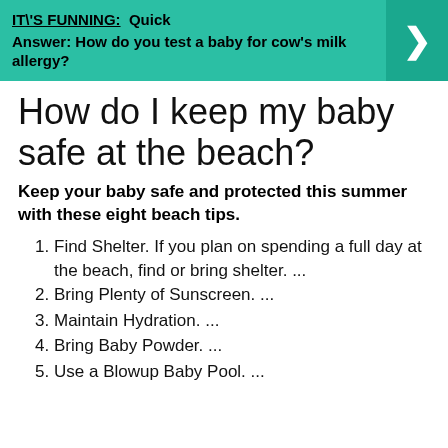IT\'S FUNNING:  Quick Answer: How do you test a baby for cow's milk allergy?
How do I keep my baby safe at the beach?
Keep your baby safe and protected this summer with these eight beach tips.
Find Shelter. If you plan on spending a full day at the beach, find or bring shelter. ...
Bring Plenty of Sunscreen. ...
Maintain Hydration. ...
Bring Baby Powder. ...
Use a Blowup Baby Pool. ...